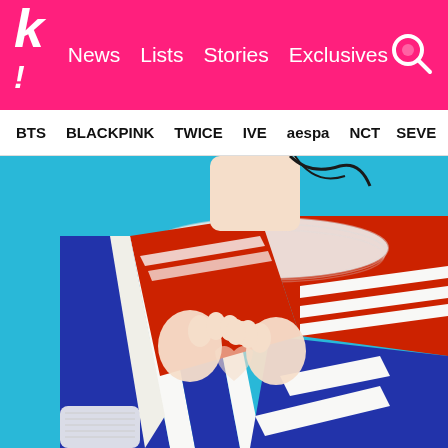k! News Lists Stories Exclusives
BTS BLACKPINK TWICE IVE aespa NCT SEVE
[Figure (photo): A person wearing a blue, red, and white striped knit sweater against a bright blue background, making a heart gesture with their hands. Their face is partially cropped out. The sweater has bold geometric stripe patterns.]